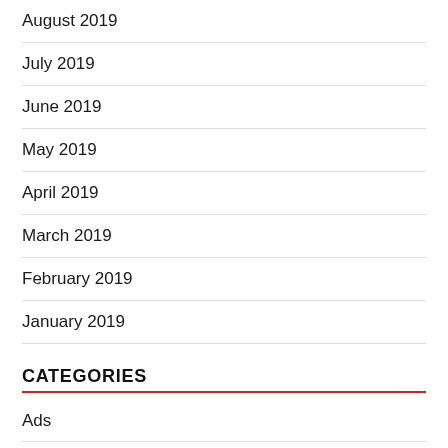August 2019
July 2019
June 2019
May 2019
April 2019
March 2019
February 2019
January 2019
CATEGORIES
Ads
Basketball
Brentwood